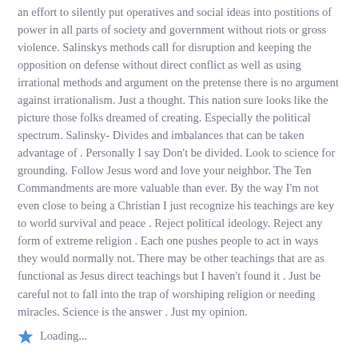an effort to silently put operatives and social ideas into postitions of power in all parts of society and government without riots or gross violence. Salinskys methods call for disruption and keeping the opposition on defense without direct conflict as well as using irrational methods and argument on the pretense there is no argument against irrationalism. Just a thought. This nation sure looks like the picture those folks dreamed of creating. Especially the political spectrum. Salinsky- Divides and imbalances that can be taken advantage of . Personally I say Don't be divided. Look to science for grounding. Follow Jesus word and love your neighbor. The Ten Commandments are more valuable than ever. By the way I'm not even close to being a Christian I just recognize his teachings are key to world survival and peace . Reject political ideology. Reject any form of extreme religion . Each one pushes people to act in ways they would normally not. There may be other teachings that are as functional as Jesus direct teachings but I haven't found it . Just be careful not to fall into the trap of worshiping religion or needing miracles. Science is the answer . Just my opinion.
Loading...